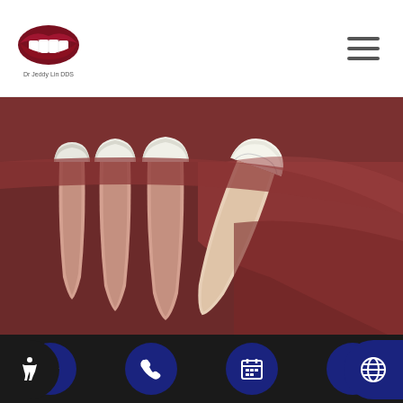[Figure (logo): Dental practice logo with red lips icon and text 'Dr Jeddy Lin DDS']
[Figure (illustration): 3D medical illustration of wisdom tooth impaction showing teeth cross-section with roots embedded in gum tissue, one tooth angled against adjacent molars]
Signs To Consider Wisdom Tooth Extractions
A wisdom tooth extraction is often necessary in order to eliminate some concerning symptoms. Man...